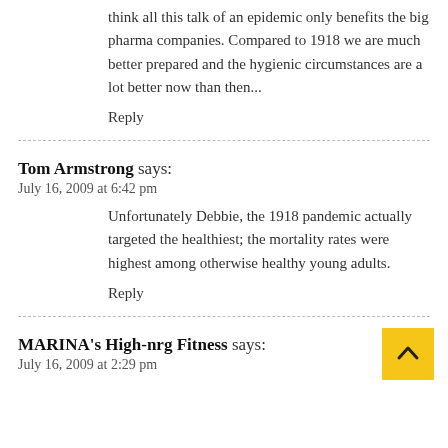think all this talk of an epidemic only benefits the big pharma companies. Compared to 1918 we are much better prepared and the hygienic circumstances are a lot better now than then...
Reply
Tom Armstrong says:
July 16, 2009 at 6:42 pm
Unfortunately Debbie, the 1918 pandemic actually targeted the healthiest; the mortality rates were highest among otherwise healthy young adults.
Reply
MARINA's High-nrg Fitness says:
July 16, 2009 at 2:29 pm